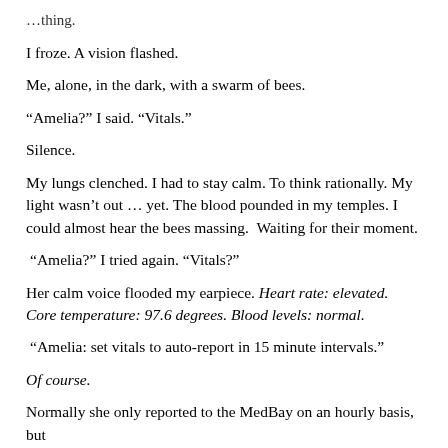…thing.
I froze. A vision flashed.
Me, alone, in the dark, with a swarm of bees.
“Amelia?” I said. “Vitals.”
Silence.
My lungs clenched. I had to stay calm. To think rationally. My light wasn’t out … yet. The blood pounded in my temples. I could almost hear the bees massing.  Waiting for their moment.
“Amelia?” I tried again. “Vitals?”
Her calm voice flooded my earpiece. Heart rate: elevated. Core temperature: 97.6 degrees. Blood levels: normal.
“Amelia: set vitals to auto-report in 15 minute intervals.”
Of course.
Normally she only reported to the MedBay on an hourly basis, but